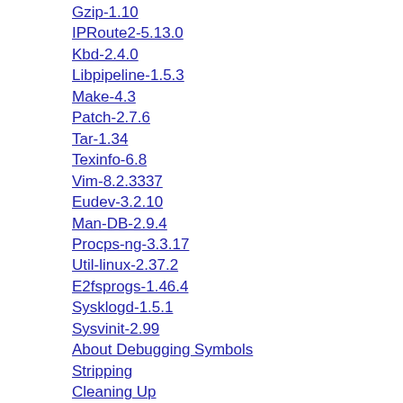Gzip-1.10
IPRoute2-5.13.0
Kbd-2.4.0
Libpipeline-1.5.3
Make-4.3
Patch-2.7.6
Tar-1.34
Texinfo-6.8
Vim-8.2.3337
Eudev-3.2.10
Man-DB-2.9.4
Procps-ng-3.3.17
Util-linux-2.37.2
E2fsprogs-1.46.4
Sysklogd-1.5.1
Sysvinit-2.99
About Debugging Symbols
Stripping
Cleaning Up
9. System Configuration
Introduction
LFS-Bootscripts-20210608
Overview of Device and Module Handling